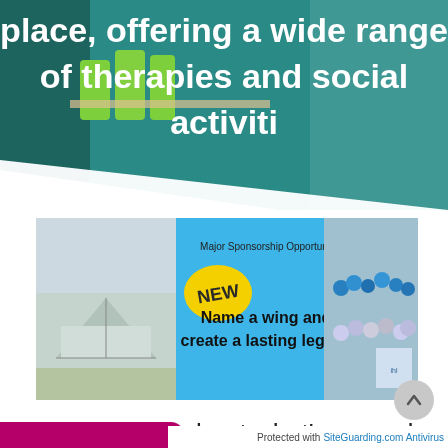[Figure (photo): Hero image showing green chairs and a cafe/social space with teal background, with white bold text overlaid reading 'place, offering a wide range of therapies and social activities']
[Figure (infographic): Banner with three panels: left photo of a building/greenhouse structure, center blue panel with 'NEW' badge and text 'Major Sponsorship Opportunity - Name a wing and create a lasting legacy', right photo of group of people with blue balloons]
Find out more about what's on and how you can help keep our vital work going.
Protected with SiteGuarding.com Antivirus